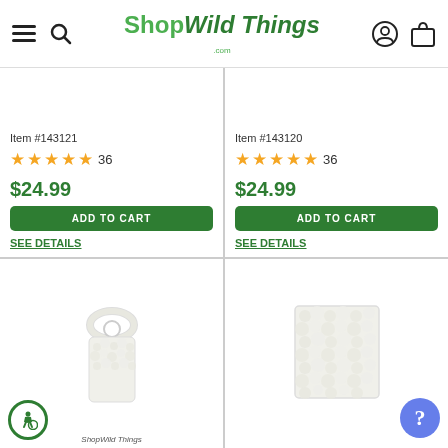ShopWildThings.com
Item #143121
★★★★★ 36
$24.99
ADD TO CART
SEE DETAILS
Item #143120
★★★★★ 36
$24.99
ADD TO CART
SEE DETAILS
[Figure (photo): White floral door hanger with arch top and rectangular moss panel body]
[Figure (photo): White floral/moss wall panel square photo]
ShopWildThings